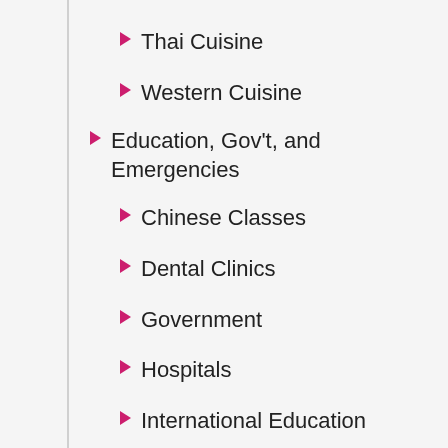Thai Cuisine
Western Cuisine
Education, Gov't, and Emergencies
Chinese Classes
Dental Clinics
Government
Hospitals
International Education
Veterinary Clinics